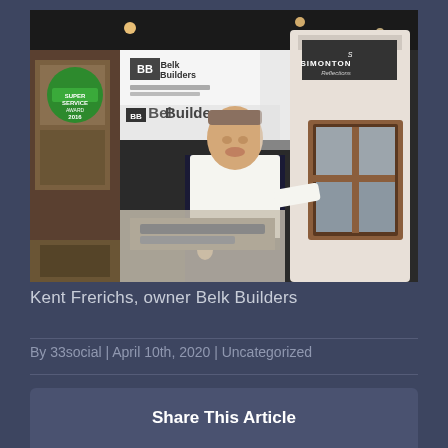[Figure (photo): A man in a white polo shirt stands at a trade show booth next to a Simonton Reflections window display. Belk Builders banners and an Angie's List Super Service Award 2016 sign are visible in the background.]
Kent Frerichs, owner Belk Builders
By 33social | April 10th, 2020 | Uncategorized
Share This Article